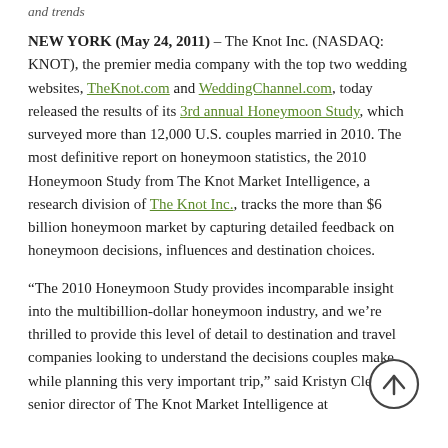and trends
NEW YORK (May 24, 2011) – The Knot Inc. (NASDAQ: KNOT), the premier media company with the top two wedding websites, TheKnot.com and WeddingChannel.com, today released the results of its 3rd annual Honeymoon Study, which surveyed more than 12,000 U.S. couples married in 2010. The most definitive report on honeymoon statistics, the 2010 Honeymoon Study from The Knot Market Intelligence, a research division of The Knot Inc., tracks the more than $6 billion honeymoon market by capturing detailed feedback on honeymoon decisions, influences and destination choices.
“The 2010 Honeymoon Study provides incomparable insight into the multibillion-dollar honeymoon industry, and we’re thrilled to provide this level of detail to destination and travel companies looking to understand the decisions couples make while planning this very important trip,” said Kristyn Clement, senior director of The Knot Market Intelligence at